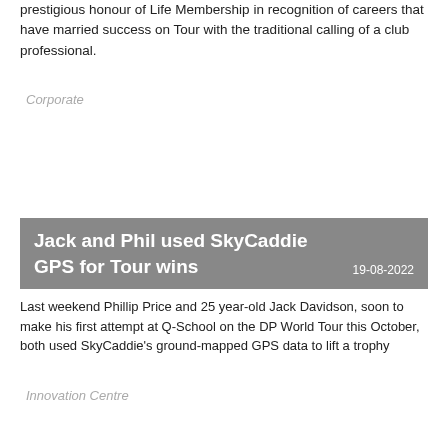prestigious honour of Life Membership in recognition of careers that have married success on Tour with the traditional calling of a club professional.
Corporate
Jack and Phil used SkyCaddie GPS for Tour wins
19-08-2022
Last weekend Phillip Price and 25 year-old Jack Davidson, soon to make his first attempt at Q-School on the DP World Tour this October, both used SkyCaddie’s ground-mapped GPS data to lift a trophy
Innovation Centre